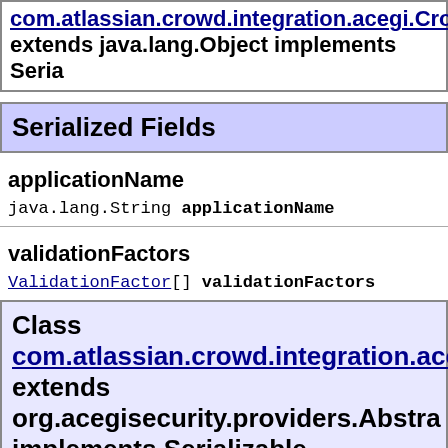com.atlassian.crowd.integration.acegi.Crow... extends java.lang.Object implements Seria...
Serialized Fields
applicationName
java.lang.String applicationName
validationFactors
ValidationFactor[] validationFactors
Class com.atlassian.crowd.integration.acegi.Crow... extends org.acegisecurity.providers.Abstra... implements Serializable
Serialized Fields